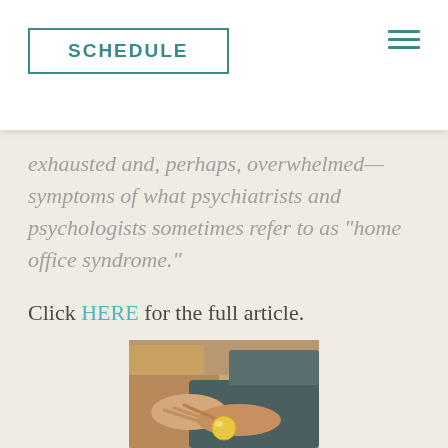SCHEDULE
exhausted and, perhaps, overwhelmed—symptoms of what psychiatrists and psychologists sometimes refer to as “home office syndrome.”
Click HERE for the full article.
[Figure (photo): Photo of two people sitting together, close-up of hands/arms, one person holding what appears to be a small yellow object, casual therapeutic or counseling setting]